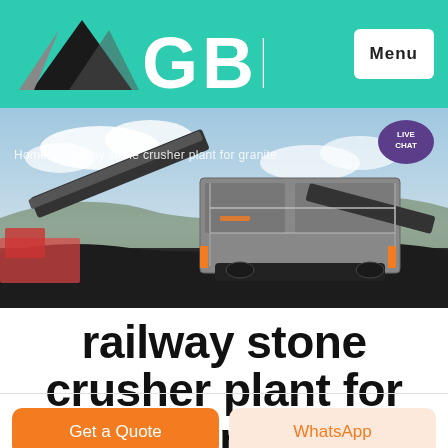GBM — Menu
[Figure (photo): Outdoor photograph of a large industrial stone crusher plant / mobile crushing machine at a gravel site, with conveyor belts and heavy machinery visible against a cloudy sky. Breadcrumb text overlay: Home / railway stone crusher plant for granite]
[Figure (illustration): Live Chat speech bubble icon in purple]
railway stone crusher plant for granite
Get a Quote
WhatsApp